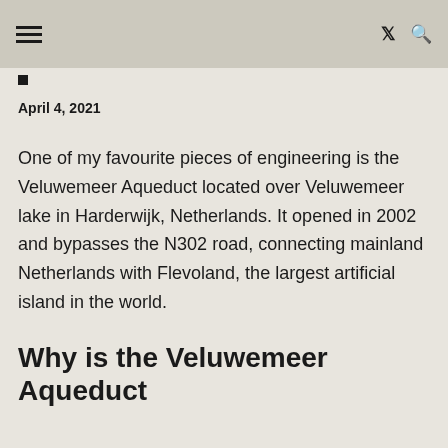≡  𝕏 🔍
April 4, 2021
One of my favourite pieces of engineering is the Veluwemeer Aqueduct located over Veluwemeer lake in Harderwijk, Netherlands. It opened in 2002 and bypasses the N302 road, connecting mainland Netherlands with Flevoland, the largest artificial island in the world.
Why is the Veluwemeer Aqueduct